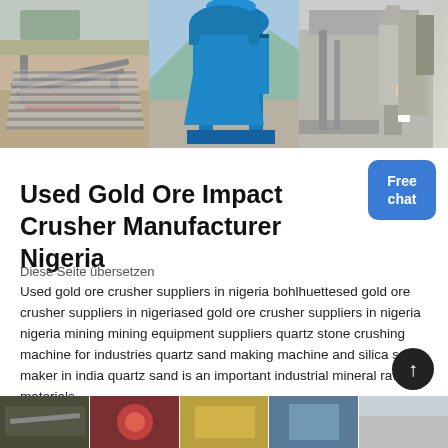[Figure (photo): Banner strip of three mining/industrial equipment photos: conveyor/screening plant on left, large blue vertical shaft impact crusher in center, industrial processing facility on right]
Used Gold Ore Impact Crusher Manufacturer Nigeria
Diese Seite übersetzen
Used gold ore crusher suppliers in nigeria bohlhuettesed gold ore crusher suppliers in nigeriased gold ore crusher suppliers in nigeria nigeria mining mining equipment suppliers quartz stone crushing machine for industries quartz sand making machine and silica sand maker in india quartz sand is an important industrial mineral raw materials.
[Figure (photo): Bottom strip of five small thumbnail photos of mining and industrial equipment]